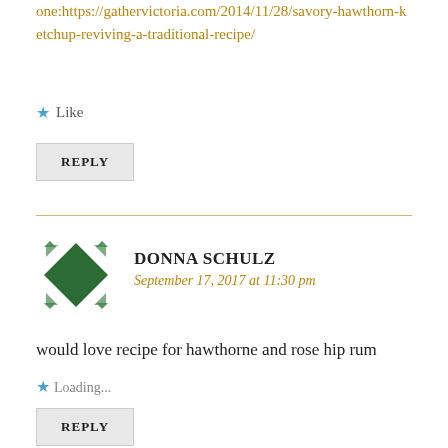one:https://gathervictoria.com/2014/11/28/savory-hawthorn-ketchup-reviving-a-traditional-recipe/
Like
REPLY
DONNA SCHULZ
September 17, 2017 at 11:30 pm
would love recipe for hawthorne and rose hip rum
Loading...
REPLY